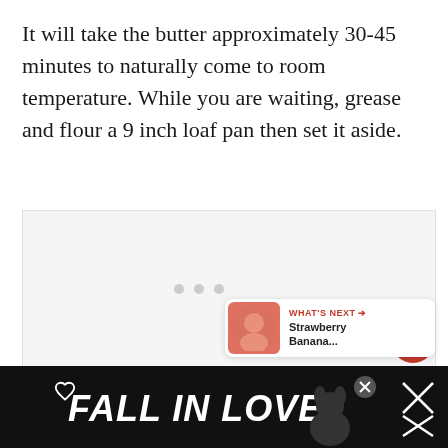It will take the butter approximately 30-45 minutes to naturally come to room temperature. While you are waiting, grease and flour a 9 inch loaf pan then set it aside.
[Figure (other): Image placeholder area with three dots indicating a loading or ad carousel, with social interaction buttons (heart/like, count 15, share), and a 'What's Next' thumbnail panel showing Strawberry Banana...]
[Figure (other): Black advertisement banner at the bottom with white italic bold text 'FALL IN LOVE', a dog image, heart icon, and close buttons]